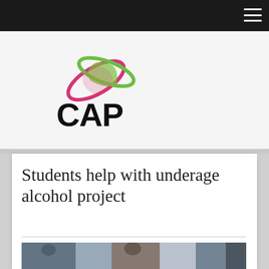[Figure (logo): CAP logo with pink and green circular swoosh design above bold black CAP text]
Students help with underage alcohol project
[Figure (photo): Partial photo strip showing people, partially cropped at bottom of visible page area]